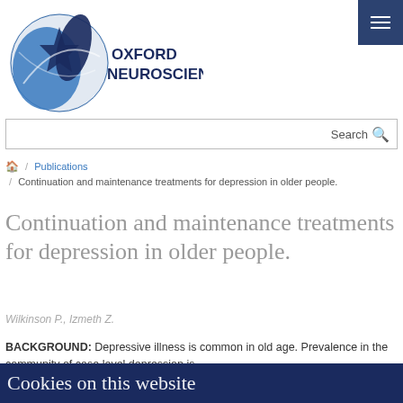[Figure (logo): Oxford Neuroscience circular brain/globe logo with dark blue colors, next to text OXFORD NEUROSCIENCE]
☰ (hamburger menu icon, dark blue background)
Search
🏠 / Publications / Continuation and maintenance treatments for depression in older people.
Continuation and maintenance treatments for depression in older people.
Wilkinson P., Izmeth Z.
BACKGROUND: Depressive illness is common in old age. Prevalence in the community of case level depression is
Cookies on this website